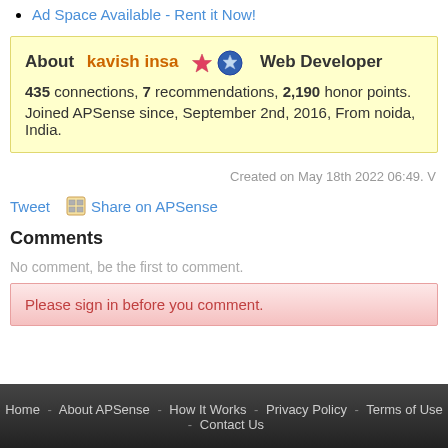Ad Space Available - Rent it Now!
About kavish insa ⭐ 🔵 Web Developer
435 connections, 7 recommendations, 2,190 honor points.
Joined APSense since, September 2nd, 2016, From noida, India.
Created on May 18th 2022 06:49. V
Tweet   Share on APSense
Comments
No comment, be the first to comment.
Please sign in before you comment.
Home - About APSense - How It Works - Privacy Policy - Terms of Use - Contact Us